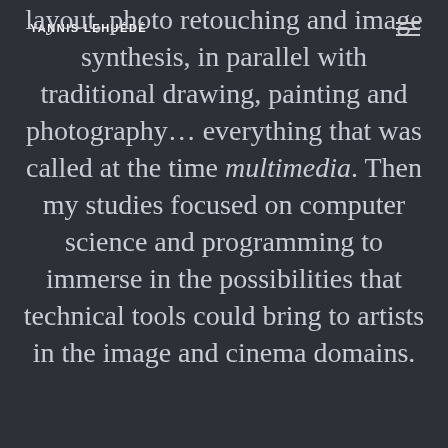YANNIS LEHUÉDÉ
layout, photo retouching and image synthesis, in parallel with traditional drawing, painting and photography… everything that was called at the time multimedia. Then my studies focused on computer science and programming to immerse in the possibilities that technical tools could bring to artists in the image and cinema domains.